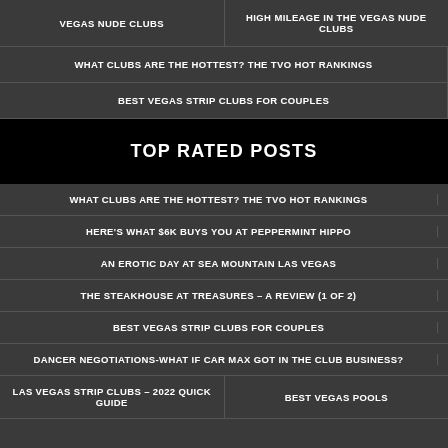VEGAS NUDE CLUBS | HIGH MILEAGE IN THE VEGAS NUDE CLUBS
WHAT CLUBS ARE THE HOTTEST? THE TVO HOT RANKINGS
BEST VEGAS STRIP CLUBS FOR COUPLES
TOP RATED POSTS
WHAT CLUBS ARE THE HOTTEST? THE TVO HOT RANKINGS
HERE'S WHAT $6K BUYS YOU AT PEPPERMINT HIPPO
AN EROTIC DAY AT SEA MOUNTAIN LAS VEGAS
THE STEAKHOUSE AT TREASURES – A REVIEW (1 OF 2)
BEST VEGAS STRIP CLUBS FOR COUPLES
DANCER NEGOTIATIONS-WHAT IF CAR MAX GOT IN THE CLUB BUSINESS?
LAS VEGAS STRIP CLUBS – 2022 QUICK GUIDE | BEST VEGAS POOLS